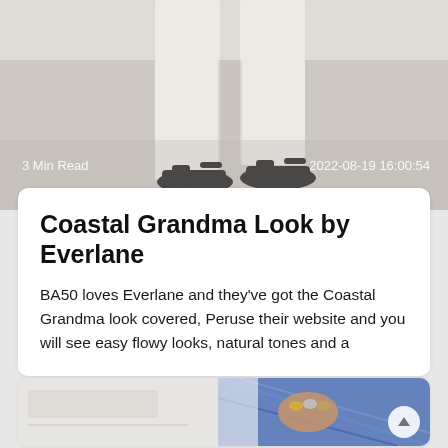[Figure (photo): Close-up of feet wearing black slide sandals with white wide-leg trousers, on a light background]
3 Min Read   2022-08-19 16:00:54
Coastal Grandma Look by Everlane
BA50 loves Everlane and they’ve got the Coastal Grandma look covered, Peruse their website and you will see easy flowy looks, natural tones and a
[Figure (photo): Close-up of a woman’s hand wearing multiple silver/gold rings, holding a blue patterned fabric, wearing a white top and blue printed skirt]